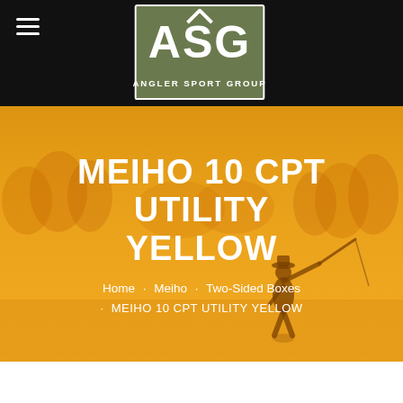ASG - Angler Sport Group
[Figure (logo): ASG Angler Sport Group logo — white text and mountain/letter A on olive/sage green background]
MEIHO 10 CPT UTILITY YELLOW
Home · Meiho · Two-Sided Boxes
• MEIHO 10 CPT UTILITY YELLOW